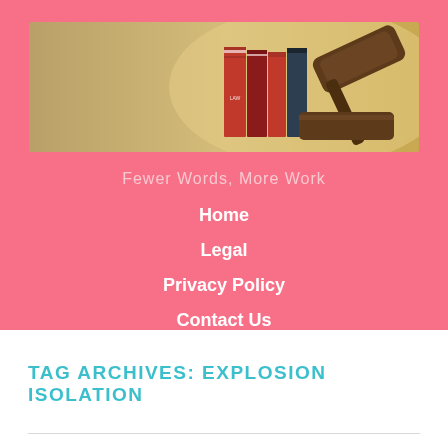[Figure (photo): Banner image showing law books and a wooden judge's gavel on a warm-toned background]
Fewer Words, More Work
Home
Legal
Privacy Policy
Contact Us
TAG ARCHIVES: EXPLOSION ISOLATION